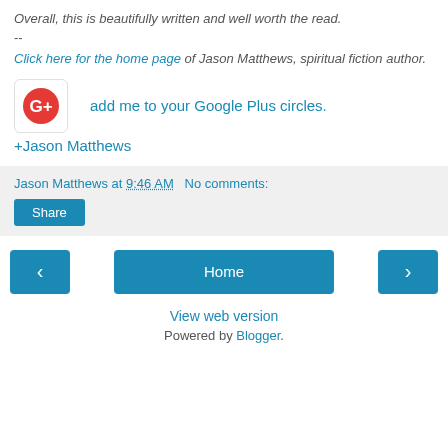Overall, this is beautifully written and well worth the read.
--
Click here for the home page of Jason Matthews, spiritual fiction author.
[Figure (logo): Google Plus logo icon, red circle with G+ text on white rounded square background]
add me to your Google Plus circles.
+Jason Matthews
Jason Matthews at 9:46 AM   No comments:
Share
< Home >
View web version
Powered by Blogger.